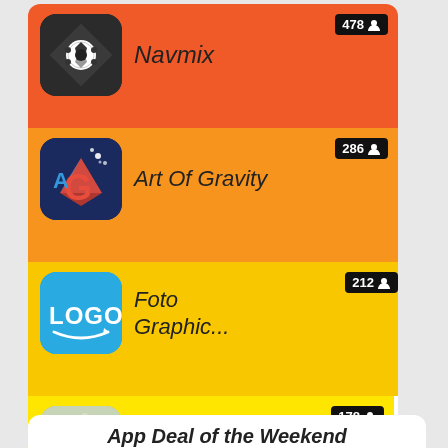[Figure (screenshot): App listing card showing 4 apps with icons, names, and user count badges. Row 1: Navmix (478 users, red-orange background). Row 2: Art Of Gravity (286 users, orange background). Row 3: Foto Graphic... (212 users, yellow background). Row 4: AI Art Filters (178 users, bright yellow background). Each row has a decreasing width creating a waterfall staircase effect.]
App Deal of the Weekend